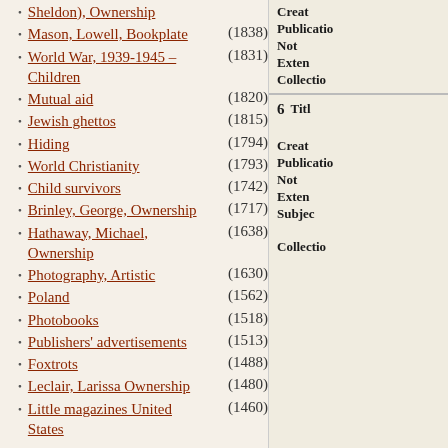Sheldon), Ownership
Mason, Lowell, Bookplate (1838)
World War, 1939-1945 – Children (1831)
Mutual aid (1820)
Jewish ghettos (1815)
Hiding (1794)
World Christianity (1793)
Child survivors (1742)
Brinley, George, Ownership (1717)
Hathaway, Michael, Ownership (1638)
Photography, Artistic (1630)
Poland (1562)
Photobooks (1518)
Publishers' advertisements (1513)
Foxtrots (1488)
Leclair, Larissa Ownership (1480)
Little magazines United States (1460)
Creator
Publication
Note
Extent
Collection
6 Title
Creator
Publication
Note
Extent
Subject
Collection